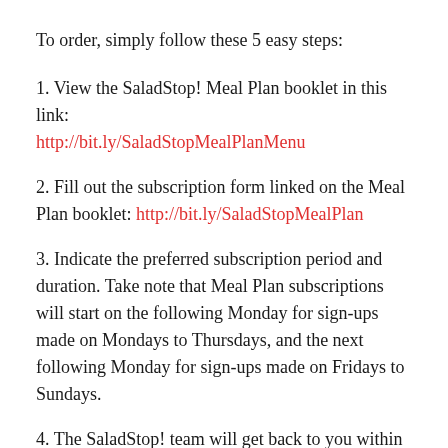To order, simply follow these 5 easy steps:
1. View the SaladStop! Meal Plan booklet in this link: http://bit.ly/SaladStopMealPlanMenu
2. Fill out the subscription form linked on the Meal Plan booklet: http://bit.ly/SaladStopMealPlan
3. Indicate the preferred subscription period and duration. Take note that Meal Plan subscriptions will start on the following Monday for sign-ups made on Mondays to Thursdays, and the next following Monday for sign-ups made on Fridays to Sundays.
4. The SaladStop! team will get back to you within 24 hours to confirm your order.
5. Pay for the orders through bank transfer, credit card, or